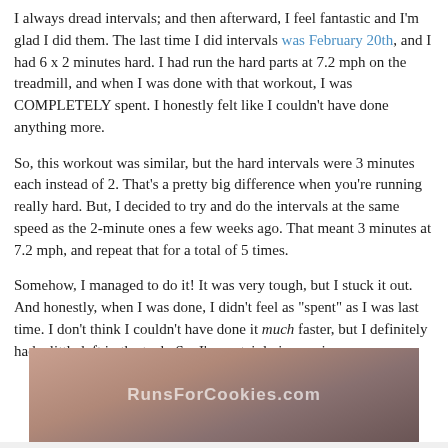I always dread intervals; and then afterward, I feel fantastic and I'm glad I did them. The last time I did intervals was February 20th, and I had 6 x 2 minutes hard. I had run the hard parts at 7.2 mph on the treadmill, and when I was done with that workout, I was COMPLETELY spent. I honestly felt like I couldn't have done anything more.
So, this workout was similar, but the hard intervals were 3 minutes each instead of 2. That's a pretty big difference when you're running really hard. But, I decided to try and do the intervals at the same speed as the 2-minute ones a few weeks ago. That meant 3 minutes at 7.2 mph, and repeat that for a total of 5 times.
Somehow, I managed to do it! It was very tough, but I stuck it out. And honestly, when I was done, I didn't feel as "spent" as I was last time. I don't think I couldn't have done it much faster, but I definitely had a little left in the tank. So, I'm certainly improving.
[Figure (photo): Photo of a person's face close up, likely post-workout, with a watermark reading RunsForCookies.com overlaid in white text]
[Figure (screenshot): Advertisement bar at the bottom with close button (X)]